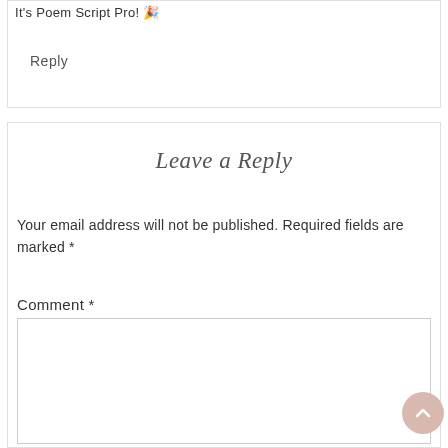It's Poem Script Pro! 🎉
Reply
Leave a Reply
Your email address will not be published. Required fields are marked *
Comment *